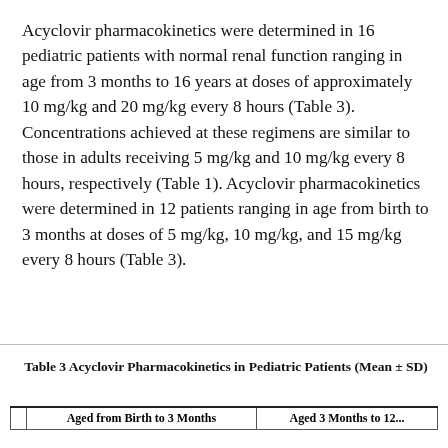Acyclovir pharmacokinetics were determined in 16 pediatric patients with normal renal function ranging in age from 3 months to 16 years at doses of approximately 10 mg/kg and 20 mg/kg every 8 hours (Table 3). Concentrations achieved at these regimens are similar to those in adults receiving 5 mg/kg and 10 mg/kg every 8 hours, respectively (Table 1). Acyclovir pharmacokinetics were determined in 12 patients ranging in age from birth to 3 months at doses of 5 mg/kg, 10 mg/kg, and 15 mg/kg every 8 hours (Table 3).
Table 3 Acyclovir Pharmacokinetics in Pediatric Patients (Mean ± SD)
|  | Aged from Birth to 3 Months | Aged 3 Months to 12... |
| --- | --- | --- |